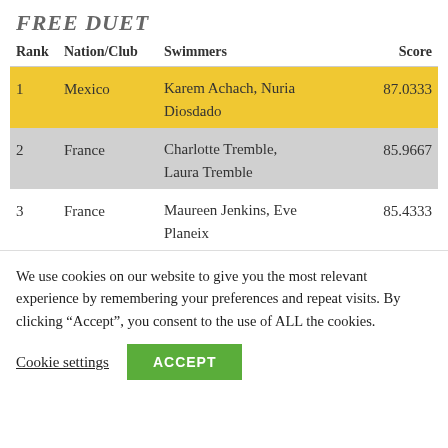FREE DUET
| Rank | Nation/Club | Swimmers | Score |
| --- | --- | --- | --- |
| 1 | Mexico | Karem Achach, Nuria Diosdado | 87.0333 |
| 2 | France | Charlotte Tremble, Laura Tremble | 85.9667 |
| 3 | France | Maureen Jenkins, Eve Planeix | 85.4333 |
We use cookies on our website to give you the most relevant experience by remembering your preferences and repeat visits. By clicking “Accept”, you consent to the use of ALL the cookies.
Cookie settings  ACCEPT